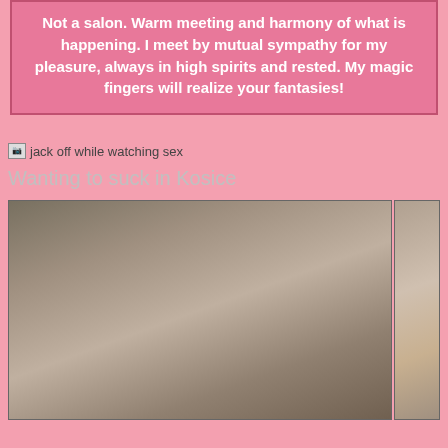Not a salon. Warm meeting and harmony of what is happening. I meet by mutual sympathy for my pleasure, always in high spirits and rested. My magic fingers will realize your fantasies!
[Figure (other): Broken image icon with alt text: jack off while watching sex]
Wanting to suck in Kosice
[Figure (photo): Adult explicit photograph (left, large)]
[Figure (photo): Adult explicit photograph (right, partial/cropped)]